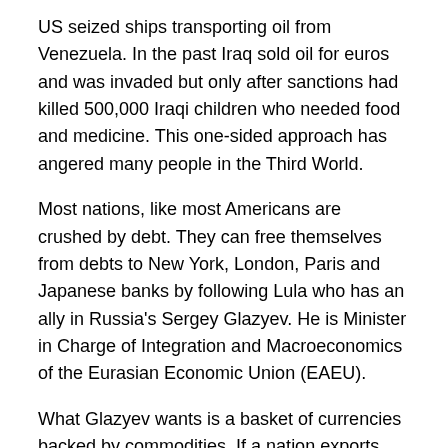US seized ships transporting oil from Venezuela. In the past Iraq sold oil for euros and was invaded but only after sanctions had killed 500,000 Iraqi children who needed food and medicine. This one-sided approach has angered many people in the Third World.
Most nations, like most Americans are crushed by debt. They can free themselves from debts to New York, London, Paris and Japanese banks by following Lula who has an ally in Russia's Sergey Glazyev. He is Minister in Charge of Integration and Macroeconomics of the Eurasian Economic Union (EAEU).
What Glazyev wants is a basket of currencies backed by commodities. If a nation exports grains but has no oil, then they can use their grains to back their currency without gold. Other nations have oil but no food. Russia has an